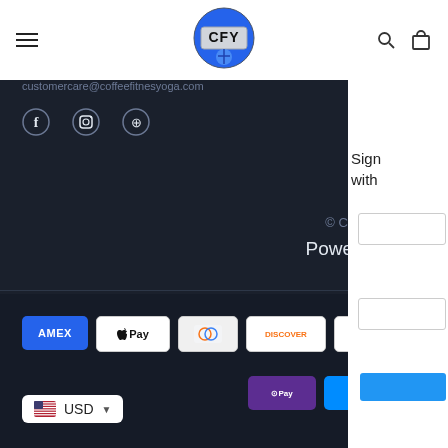CFY Coffee Fitness Yoga header with hamburger menu, logo, search and cart icons
customercare@coffeefitnesyoga.com
[Figure (infographic): Social media icons: Facebook, Instagram, Pinterest]
© Coffee Fitness Yoga
Powered by Shopify
[Figure (infographic): Payment method badges: American Express, Apple Pay, Diners Club, Discover, Meta Pay, Google Pay, Mastercard, Shop Pay, Venmo, Visa]
USD
Chat with us